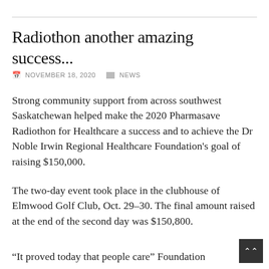Radiothon another amazing success...
NOVEMBER 18, 2020   NEWS
Strong community support from across southwest Saskatchewan helped make the 2020 Pharmasave Radiothon for Healthcare a success and to achieve the Dr Noble Irwin Regional Healthcare Foundation's goal of raising $150,000.
The two-day event took place in the clubhouse of Elmwood Golf Club, Oct. 29-30. The final amount raised at the end of the second day was $150,800.
“It proved today that people care” Foundation